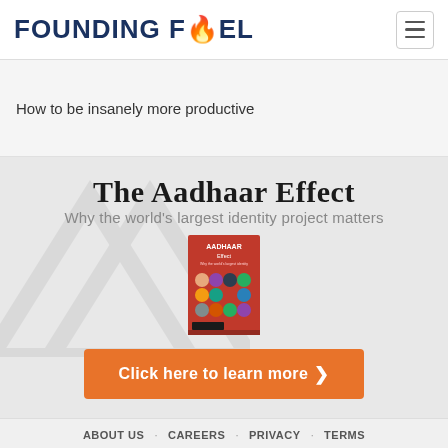FOUNDING FUEL
How to be insanely more productive
The Aadhaar Effect
Why the world's largest identity project matters
[Figure (photo): Book cover of The Aadhaar Effect with a red cover and circular face illustrations]
Click here to learn more
ABOUT US   CAREERS   PRIVACY   TERMS